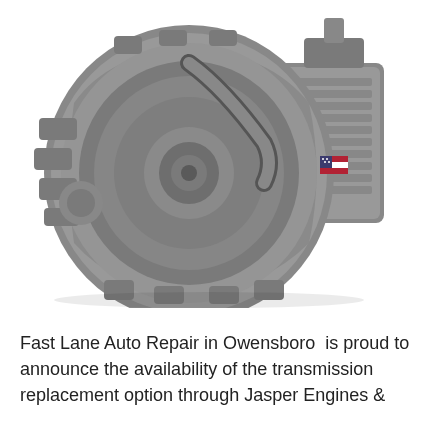[Figure (photo): A gray automotive automatic transmission assembly (remanufactured), photographed on a white background. The transmission shows the torque converter housing with a large circular disc, multiple casting fins and brackets, and a small American flag sticker on the right side.]
Fast Lane Auto Repair in Owensboro  is proud to announce the availability of the transmission replacement option through Jasper Engines &